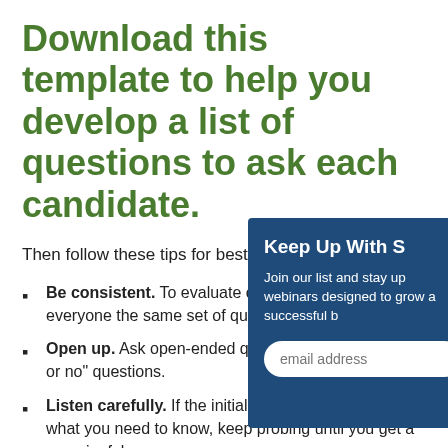Download this template to help you develop a list of questions to ask each candidate.
Then follow these tips for best results:
Be consistent. To evaluate candidates fairly, ask everyone the same set of questions.
Open up. Ask open-ended questions rather than "yes or no" questions.
Listen carefully. If the initial answer doesn't tell you what you need to know, keep probing until you get a meaningful response.
Encourage questions. The questions a candidate asks can be as telling as their answers to your
[Figure (other): Email subscription popup overlay with dark blue background. Title: 'Keep Up With S'. Body text: 'Join our list and stay... webinars designed t... grow a successful b'. Contains an email address input field.]